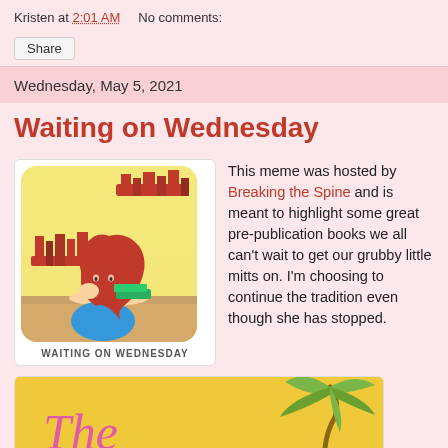Kristen at 2:01 AM   No comments:
Share
Wednesday, May 5, 2021
Waiting on Wednesday
[Figure (illustration): Illustration of a girl with red hair resting her head on her hand, leaning on books, with bookshelves in the background. Caption reads WAITING ON WEDNESDAY.]
This meme was hosted by Breaking the Spine and is meant to highlight some great pre-publication books we all can't wait to get our grubby little mitts on. I'm choosing to continue the tradition even though she has stopped.
[Figure (illustration): Book cover image with yellow background showing a palm tree and cursive text reading The.]